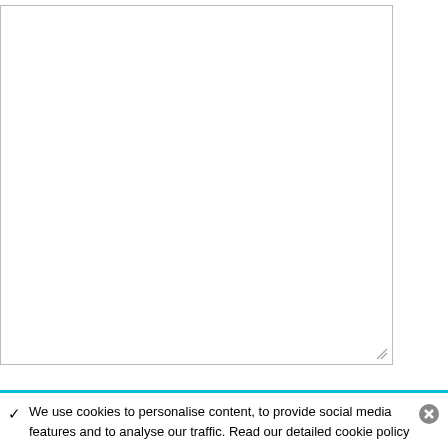[Figure (screenshot): Empty textarea input box with resize handle at bottom right]
[Figure (screenshot): Text input field with placeholder text 'Anti-spam word']
To prove you are a person (not a spam script), type the words from the following picture or audio file.
[Figure (screenshot): CAPTCHA image showing handwritten text 'styled on' in blue ink on light blue/purple background, with audio and refresh icons to the right]
We use cookies to personalise content, to provide social media features and to analyse our traffic. Read our detailed cookie policy